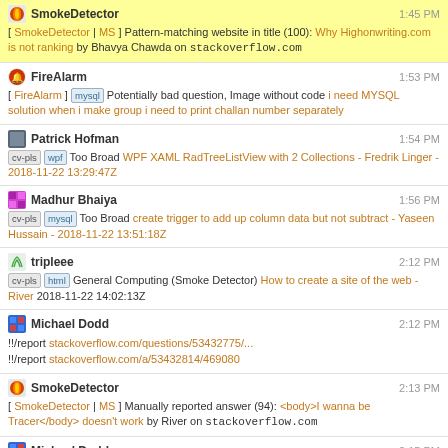SmokeDetector 1:45 PM [ SmokeDetector | MS ] Pattern-matching website in title (100): Why Highonwriting.com is not ranking by Bhavya Chawda on stackoverflow.com
FireAlarm 1:53 PM [ FireAlarm ] mysql Potentially bad question, Image without code i need MYSQL solution when i make group i need to print challan number separately
Patrick Hofman 1:54 PM cv-pls wpf Too Broad WPF XAML RadTreeListView with 2 Collections - Fredrik Linger - 2018-11-22 13:29:47Z
Madhur Bhaiya 1:56 PM cv-pls mysql Too Broad create trigger to add up column data but not subtract - Yaseen Hussain - 2018-11-22 13:51:18Z
tripleee 2:12 PM cv-pls html General Computing (Smoke Detector) How to create a site of the web - River 2018-11-22 14:02:13Z
Michael Dodd 2:12 PM !!/report stackoverflow.com/questions/53432775/... !!/report stackoverflow.com/a/53432814/469080
SmokeDetector 2:13 PM [ SmokeDetector | MS ] Manually reported answer (94): <body>I wanna be Tracer</body> doesn't work by River on stackoverflow.com
Michael Dodd 2:15 PM